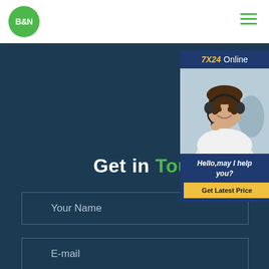[Figure (logo): B&N logo — white bold text on green circle]
[Figure (illustration): Hamburger menu icon with three green horizontal lines]
Get in Touch
[Figure (infographic): 7X24 Online chat widget with customer service representative photo. Header: '7X24 Online'. Body text: 'Hello,may I help you?'. Button: 'Get Latest Price'.]
Your Name
E-mail